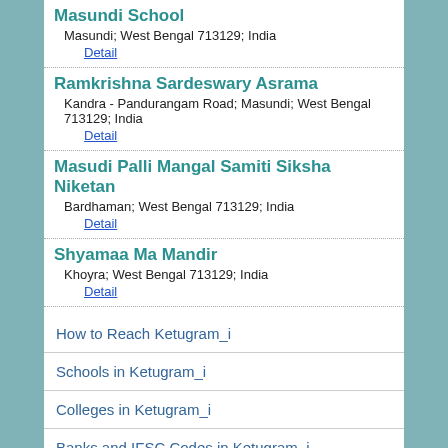Masundi School
Masundi; West Bengal 713129; India
Detail
Ramkrishna Sardeswary Asrama
Kandra - Pandurangam Road; Masundi; West Bengal 713129; India
Detail
Masudi Palli Mangal Samiti Siksha Niketan
Bardhaman; West Bengal 713129; India
Detail
Shyamaa Ma Mandir
Khoyra; West Bengal 713129; India
Detail
How to Reach Ketugram_i
Schools in Ketugram_i
Colleges in Ketugram_i
Banks and IFSC Codes in Ketugram_i
Places In Ketugram_i